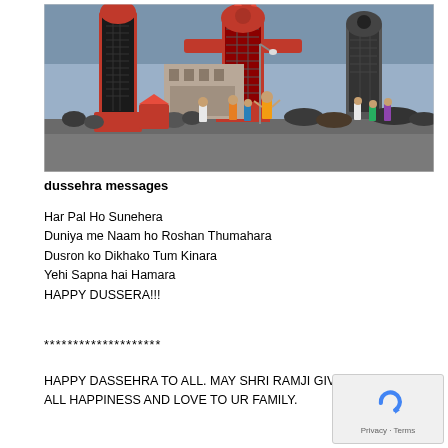[Figure (photo): Outdoor Dussehra festival scene with large demon effigies (Ravana figures) and a crowd of people gathered on an open ground at dusk.]
dussehra messages
Har Pal Ho Sunehera
Duniya me Naam ho Roshan Thumahara
Dusron ko Dikhako Tum Kinara
Yehi Sapna hai Hamara
HAPPY DUSSERA!!!
********************
HAPPY DASSEHRA TO ALL. MAY SHRI RAMJI GIVES U ALL HAPPINESS AND LOVE TO UR FAMILY.